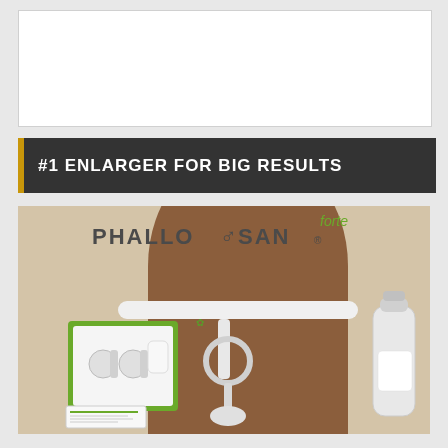[Figure (other): White empty box placeholder area]
#1 ENLARGER FOR BIG RESULTS
[Figure (photo): Phallosan Forte product promotional image showing the device worn on a body, with product kit box displayed on left containing components, and product bottle on right. The brand name 'PHALLOSAN' with male symbol and 'forte' in green text are shown at top.]